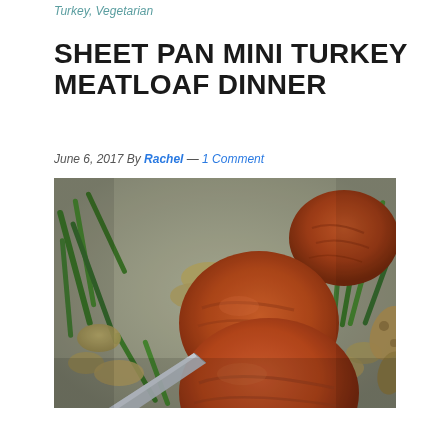Turkey, Vegetarian
SHEET PAN MINI TURKEY MEATLOAF DINNER
June 6, 2017 By Rachel — 1 Comment
[Figure (photo): Close-up photo of mini turkey meatloafs on a sheet pan with green beans and small potatoes, being lifted with a spatula]
[Figure (other): Yellow advertisement bar: It's okay to question. Now get the facts on COVID-19 vaccines. GetVaccineAnswers.org]